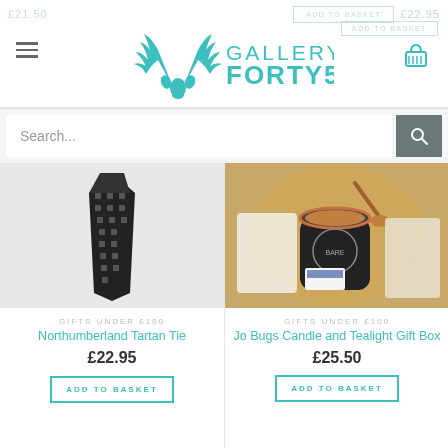[Figure (screenshot): Gallery Forty5 e-commerce website screenshot showing navigation header with logo, hamburger menu, basket icon, search bar, and two product listings]
Search...
GIFTS UNDER £100
Northumberland Tartan Tie
£22.95
ADD TO BASKET
GIFTS UNDER £100
Jo Bugs Candle and Tealight Gift Box
£25.50
ADD TO BASKET